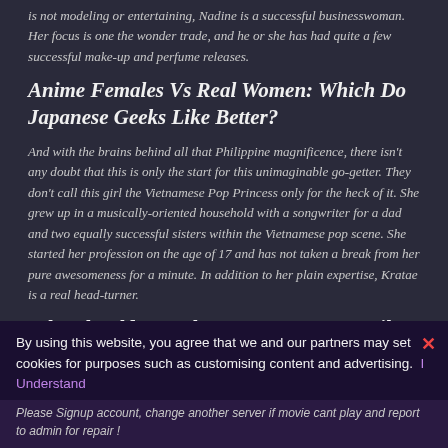is not modeling or entertaining, Nadine is a successful businesswoman. Her focus is one the wonder trade, and he or she has had quite a few successful make-up and perfume releases.
Anime Females Vs Real Women: Which Do Japanese Geeks Like Better?
And with the brains behind all that Philippine magnificence, there isn't any doubt that this is only the start for this unimaginable go-getter. They don't call this girl the Vietnamese Pop Princess only for the heck of it. She grew up in a musically-oriented household with a songwriter for a dad and two equally successful sisters within the Vietnamese pop scene. She started her profession on the age of 17 and has not taken a break from her pure awesomeness for a minute. In addition to her plain expertise, Kratae is a real head-turner.
Why Should You Choose A Japanese Mail Order Bride?
Whether or not that is to thank/blame, this country has a number of the most pretty Asian ladies. Despite this, they are very modest and extremely pleasant, which contributes additional to them being a few of the most beautiful Asian ladies. After assembly a woman, you'll not really teenage-
By using this website, you agree that we and our partners may set cookies for purposes such as customising content and advertising.  I Understand
Please Signup account, change another server if movie cant play and report to admin for repair !